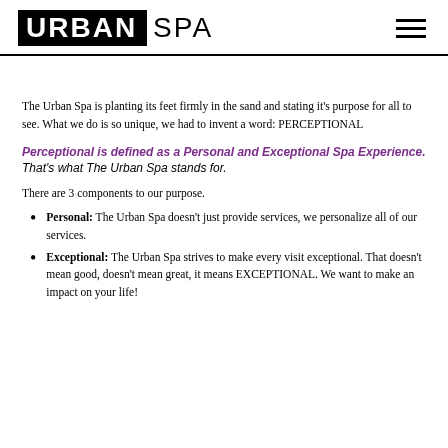URBAN SPA
The Urban Spa is planting its feet firmly in the sand and stating it's purpose for all to see. What we do is so unique, we had to invent a word: PERCEPTIONAL
Perceptional is defined as a Personal and Exceptional Spa Experience. That's what The Urban Spa stands for.
There are 3 components to our purpose.
Personal: The Urban Spa doesn't just provide services, we personalize all of our services.
Exceptional: The Urban Spa strives to make every visit exceptional. That doesn't mean good, doesn't mean great, it means EXCEPTIONAL. We want to make an impact on your life!